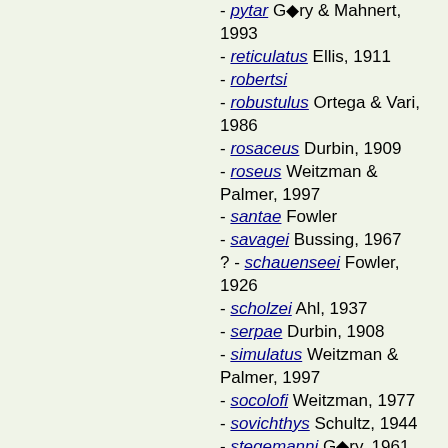pytar Géry & Mahnert, 1993
reticulatus Ellis, 1911
robertsi
robustulus Ortega & Vari, 1986
rosaceus Durbin, 1909
roseus Weitzman & Palmer, 1997
santae Fowler
savagei Bussing, 1967
? - schauenseei Fowler, 1926
scholzei Ahl, 1937
serpae Durbin, 1908
simulatus Weitzman & Palmer, 1997
socolofi Weitzman, 1977
sovichthys Schultz, 1944
stegemanni Géry, 1961
stramineus
sweglesi Weitzman & Palmer, 1997
takasei Géry, 1964
taurocephalus
tanuis Géry, 1964